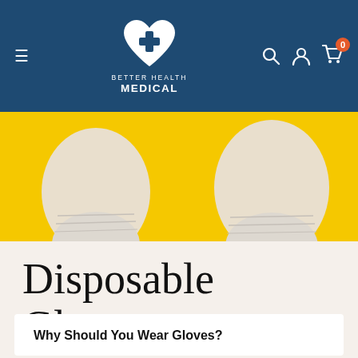Better Health Medical
[Figure (photo): White disposable gloves held up against a bright yellow background, showing two gloved hands from the wrist up]
Disposable Gloves
Why Should You Wear Gloves?